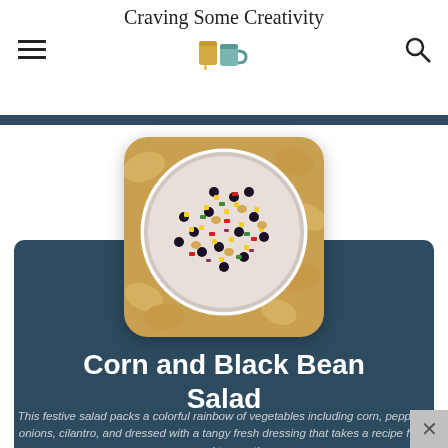Craving Some Creativity
[Figure (photo): A white bowl filled with corn and black bean salad – black beans, yellow corn, chickpeas, red peppers, green peppers, red onion – surrounded by tortilla chips on a wooden surface]
Corn and Black Bean Salad
This festive salad packs a colorful rainbow of vegetables including corn, peppers, onions, cilantro, and dressed with a tangy fresh dressing that takes a recipe from good to great!